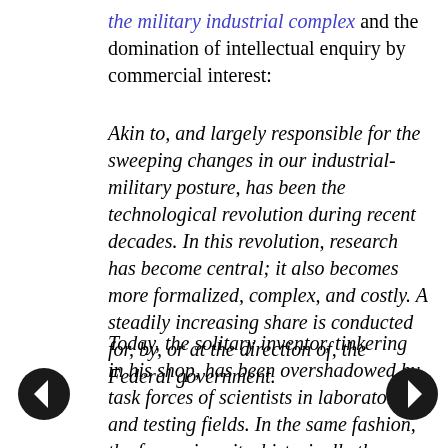the military industrial complex and the domination of intellectual enquiry by commercial interest:
Akin to, and largely responsible for the sweeping changes in our industrial-military posture, has been the technological revolution during recent decades. In this revolution, research has become central; it also becomes more formalized, complex, and costly. A steadily increasing share is conducted for, by, or at the direction of, the Federal government.
Today, the solitary inventor, tinkering in his shop, has been overshadowed by task forces of scientists in laboratories and testing fields. In the same fashion, the free university, historically the fountainhead of free ideas and scientific discovery, has experienced a revolution in the